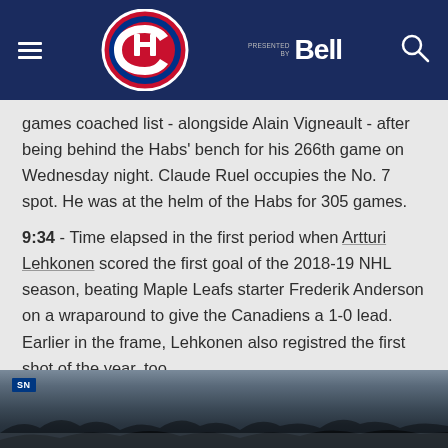Montreal Canadiens website header with logo, Bell sponsor, and search icon
games coached list - alongside Alain Vigneault - after being behind the Habs' bench for his 266th game on Wednesday night. Claude Ruel occupies the No. 7 spot. He was at the helm of the Habs for 305 games.
9:34 - Time elapsed in the first period when Artturi Lehkonen scored the first goal of the 2018-19 NHL season, beating Maple Leafs starter Frederik Anderson on a wraparound to give the Canadiens a 1-0 lead. Earlier in the frame, Lehkonen also registred the first shot of the year, too.
[Figure (photo): Video thumbnail of hockey game broadcast on SN (Sportsnet) showing crowd and players on ice]